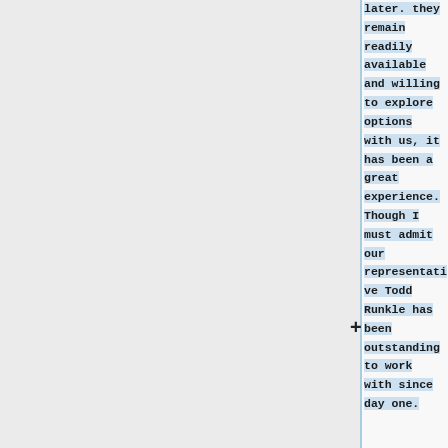later. They remain readily available and willing to explore options with us, it has been a great experience. Though I must admit our representative Todd Runkle has been outstanding to work with since day one.